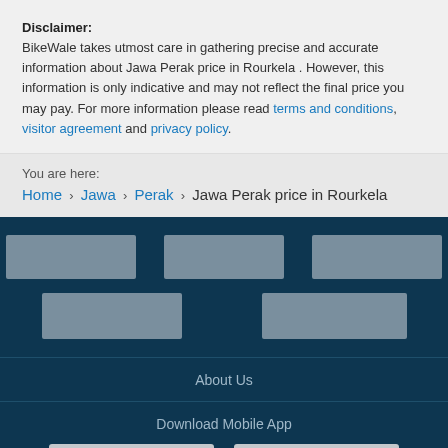Disclaimer: BikeWale takes utmost care in gathering precise and accurate information about Jawa Perak price in Rourkela . However, this information is only indicative and may not reflect the final price you may pay. For more information please read terms and conditions, visitor agreement and privacy policy.
You are here:
Home › Jawa › Perak › Jawa Perak price in Rourkela
[Figure (other): Footer with logo placeholders (3 in top row, 2 in second row), navigation links About Us, Download Mobile App section with two app store button placeholders]
About Us
Download Mobile App